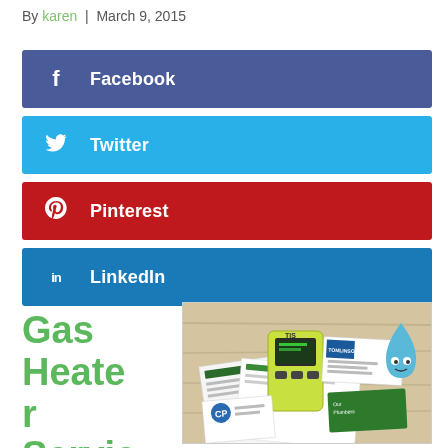By karen | March 9, 2015
Facebook
Twitter
Pinterest
LinkedIn
Gas Heater Servic
[Figure (photo): Photo of gas heater service documents, a yellow handheld device (TIS brand), business cards including Tomlinson, and a blue cartoon water drop character, arranged on a wooden table.]